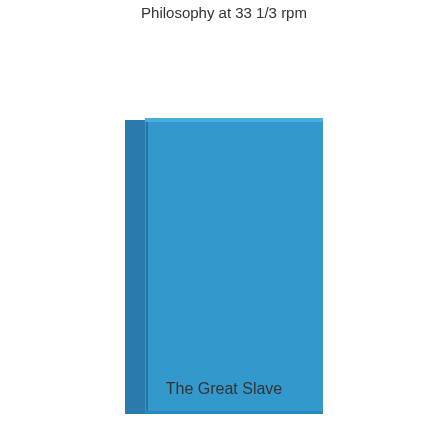Philosophy at 33 1/3 rpm
[Figure (illustration): A blue book cover illustration showing a simplified book with a dark blue spine on the left and a lighter blue front cover.]
The Great Slave